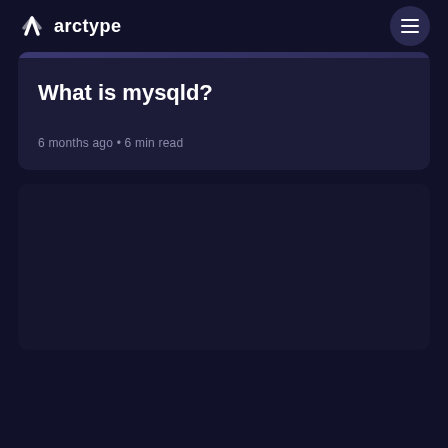arctype
What is mysqld?
6 months ago • 6 min read
[Figure (illustration): Dark image placeholder card at the bottom of the page]